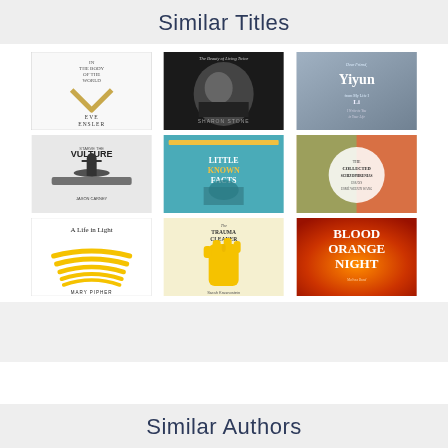Similar Titles
[Figure (illustration): Grid of 9 book covers: Row 1: 'In the Body of the World' by Eve Ensler (white cover with gold V shape), 'The Beauty of Living Twice' by Sharon Stone (black and white photo of woman), 'Dear Friend from My Life I Write to You in Your Life' by Yiyun Li (gray/blue toned cover). Row 2: 'Starve the Vulture' by Jason Carney (dark silhouette figure), a teal-colored book, 'The Collected Schizophrenias' by Esmé Weijun Wang (colorful abstract cover). Row 3: 'A Life in Light' by Mary Pipher (white cover with yellow arcs), 'The Trauma Cleaner' by Sarah Krasnostein (yellow rubber glove), 'Blood Orange Night' by Melissa Bond (orange/red toned cover).]
Similar Authors